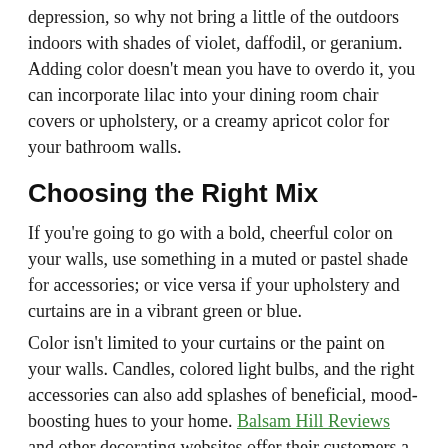depression, so why not bring a little of the outdoors indoors with shades of violet, daffodil, or geranium. Adding color doesn't mean you have to overdo it, you can incorporate lilac into your dining room chair covers or upholstery, or a creamy apricot color for your bathroom walls.
Choosing the Right Mix
If you're going to go with a bold, cheerful color on your walls, use something in a muted or pastel shade for accessories; or vice versa if your upholstery and curtains are in a vibrant green or blue.
Color isn't limited to your curtains or the paint on your walls. Candles, colored light bulbs, and the right accessories can also add splashes of beneficial, mood-boosting hues to your home. Balsam Hill Reviews and other decorating websites offer their customers a nice range of decorative trends and traditional favorites for any season or occasion. Once you choose your